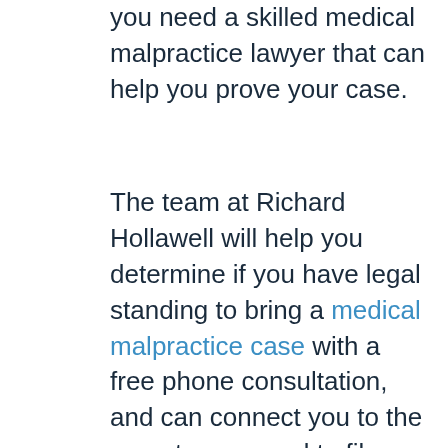you need a skilled medical malpractice lawyer that can help you prove your case.
The team at Richard Hollawell will help you determine if you have legal standing to bring a medical malpractice case with a free phone consultation, and can connect you to the experts you need to file a successful lawsuit. Call our office at 1-800-681-3550 or use the contact form on our website to speak to someone today.